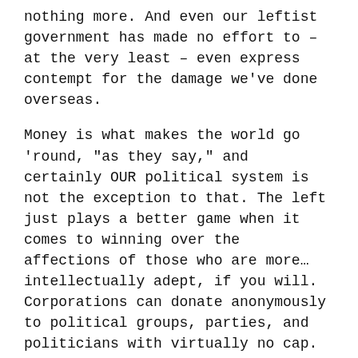nothing more. And even our leftist government has made no effort to – at the very least – even express contempt for the damage we've done overseas.
Money is what makes the world go 'round, "as they say," and certainly OUR political system is not the exception to that. The left just plays a better game when it comes to winning over the affections of those who are more…intellectually adept, if you will. Corporations can donate anonymously to political groups, parties, and politicians with virtually no cap. How one can know this, and know even just an inkling about something like, say, the TPP, and still think that somehow "Liberal" politicians pose less of a threat to the well-being of American citizens than someone like Donald Trump is completely laughable to me.